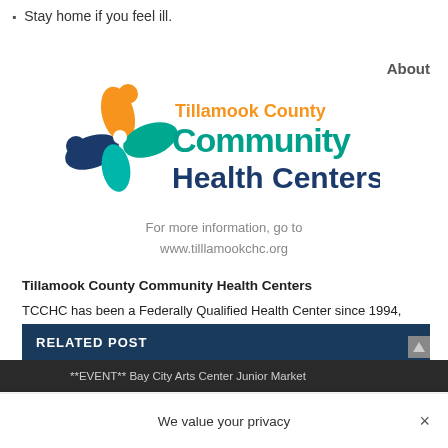Stay home if you feel ill.
About
[Figure (logo): Tillamook County Community Health Centers logo — a colorful pinwheel/people icon on the left with orange and teal text reading 'Tillamook County Community Health Centers']
For more information, go to
www.tilllamookchc.org
Tillamook County Community Health Centers
TCCHC has been a Federally Qualified Health Center since 1994, providing medical, dental, behavioral and public health services. Please visit our website at https://tillamookchc.org/ or on Facebook at TillamookCHC.
RELATED POST
We value your privacy
**EVENT** Bay City Arts Center Junior Market